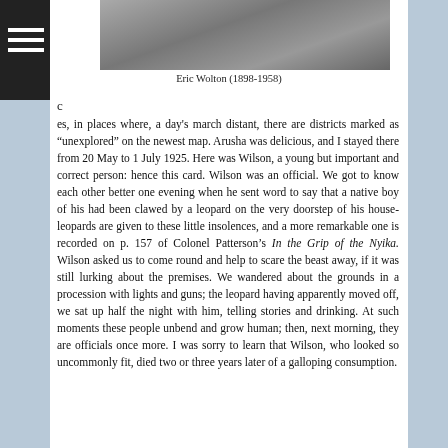[Figure (photo): Black and white photograph of Eric Wolton, partially visible at top of page]
Eric Wolton (1898-1958)
c
es, in places where, a day's march distant, there are districts marked as “unexplored” on the newest map. Arusha was delicious, and I stayed there from 20 May to 1 July 1925. Here was Wilson, a young but important and correct person: hence this card. Wilson was an official. We got to know each other better one evening when he sent word to say that a native boy of his had been clawed by a leopard on the very doorstep of his house-leopards are given to these little insolences, and a more remarkable one is recorded on p. 157 of Colonel Patterson’s In the Grip of the Nyika. Wilson asked us to come round and help to scare the beast away, if it was still lurking about the premises. We wandered about the grounds in a procession with lights and guns; the leopard having apparently moved off, we sat up half the night with him, telling stories and drinking. At such moments these people unbend and grow human; then, next morning, they are officials once more. I was sorry to learn that Wilson, who looked so uncommonly fit, died two or three years later of a galloping consumption.